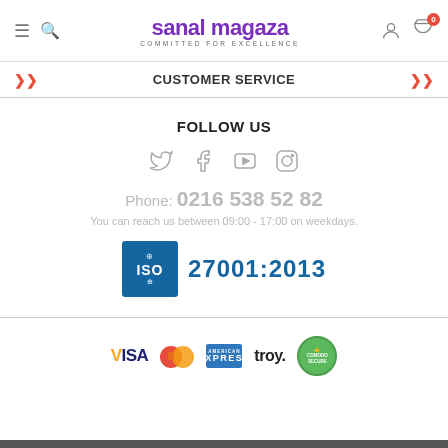sanal magaza — COMMITTED FOR EXCELLENCE
CUSTOMER SERVICE
FOLLOW US
Phone: 0216 538 52 82
You can reach us between 09:00 - 17:00 on weekdays.
[Figure (logo): ISO 27001:2013 certification logo]
[Figure (logo): Payment method logos: VISA, MasterCard, American Express, troy, Comodo Secure]